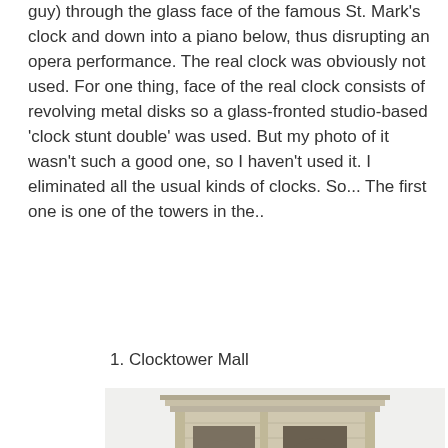guy) through the glass face of the famous St. Mark's clock and down into a piano below, thus disrupting an opera performance. The real clock was obviously not used. For one thing, face of the real clock consists of revolving metal disks so a glass-fronted studio-based 'clock stunt double' was used. But my photo of it wasn't such a good one, so I haven't used it. I eliminated all the usual kinds of clocks. So... The first one is one of the towers in the..
1. Clocktower Mall
[Figure (photo): A historic stone clock tower photographed from below against a light sky. The tower features classical architecture with arched openings, ornate stonework, corbels along the parapet, and decorative columns. The masonry is weathered limestone or similar light-colored stone.]